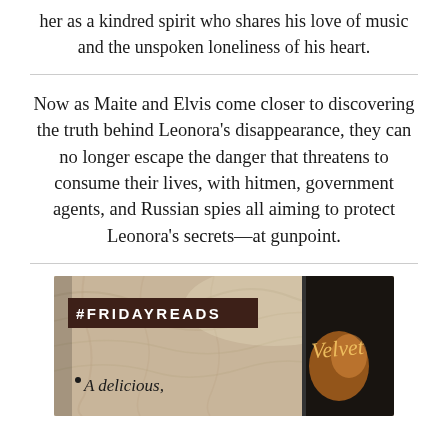maite from a distance—and comes to regard her as a kindred spirit who shares his love of music and the unspoken loneliness of his heart.
Now as Maite and Elvis come closer to discovering the truth behind Leonora's disappearance, they can no longer escape the danger that threatens to consume their lives, with hitmen, government agents, and Russian spies all aiming to protect Leonora's secrets—at gunpoint.
[Figure (photo): A promotional image with a tan/gold fabric background. A dark brown banner reads '#FRIDAYREADS' in white bold uppercase letters. Below is italic text 'A delicious,' and on the right side is a book cover for 'Velvet' with dark and orange tones.]